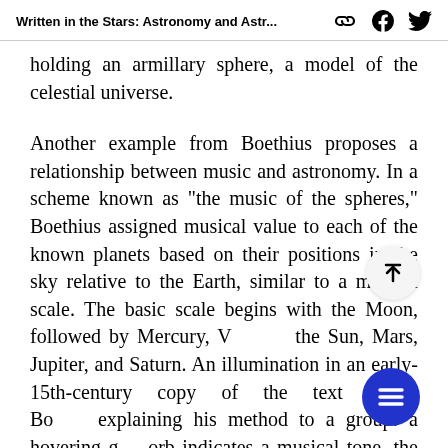Written in the Stars: Astronomy and Astr...
holding an armillary sphere, a model of the celestial universe.
Another example from Boethius proposes a relationship between music and astronomy. In a scheme known as “the music of the spheres,” Boethius assigned musical value to each of the known planets based on their positions in the sky relative to the Earth, similar to a musical scale. The basic scale begins with the Moon, followed by Mercury, V the Sun, Mars, Jupiter, and Saturn. An illumination in an early-15th-century copy of the text shows Bo explaining his method to a group: a hovering g orb indicates a musical tone, the diatessaron (a